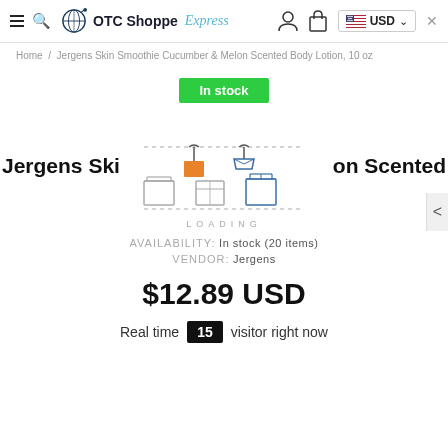OTC Shoppe Express — USD
Home / Jergens Skin Smoothie Cucumber & Melon Scented Body Lotion, 10 oz
In stock
Jergens Ski... on Scented
[Figure (illustration): Loading animation showing packages/boxes in motion along a dashed path]
LOADING
AVAILABILITY: In stock (20 items)
VENDOR: Jergens
$12.89 USD
Real time 15 visitor right now